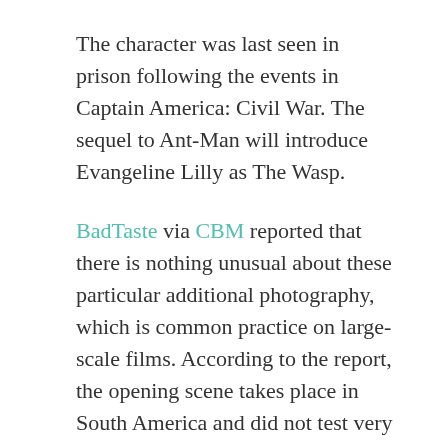The character was last seen in prison following the events in Captain America: Civil War. The sequel to Ant-Man will introduce Evangeline Lilly as The Wasp.
BadTaste via CBM reported that there is nothing unusual about these particular additional photography, which is common practice on large-scale films. According to the report, the opening scene takes place in South America and did not test very well with audiences. Thus, Marvel made the decision to reshoot the whole sequence on location in Los Angeles. This opening scene takes up most of the reshoots.
Certainly, reshoots happen but one cannot forget the entire history behind the making of the original Ant-Man. Edgar Wright's quirky superhero film made Marvel studio's Kevin Feige nervous as a dispute over